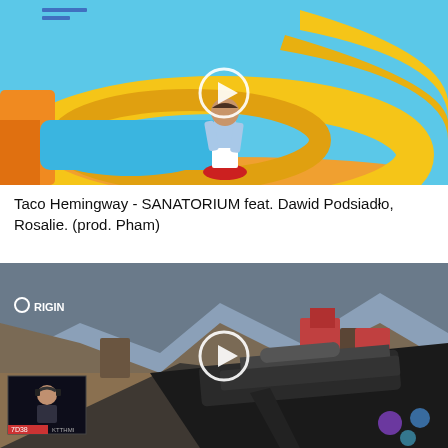[Figure (screenshot): Video thumbnail showing a person standing on a red disc on yellow water park slides with blue background, with a white play button circle overlay]
Taco Hemingway - SANATORIUM feat. Dawid Podsiadło, Rosalie. (prod. Pham)
[Figure (screenshot): Video thumbnail showing a first-person shooter game scene with a gun visible, rocky canyon environment, ORIGIN logo in top-left, small webcam overlay of streamer in bottom-left, and a white play button circle overlay]